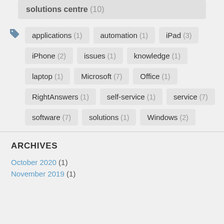solutions centre (10)
applications (1)
automation (1)
iPad (3)
iPhone (2)
issues (1)
knowledge (1)
laptop (1)
Microsoft (7)
Office (1)
RightAnswers (1)
self-service (1)
service (7)
software (7)
solutions (1)
Windows (2)
ARCHIVES
October 2020 (1)
November 2019 (1)